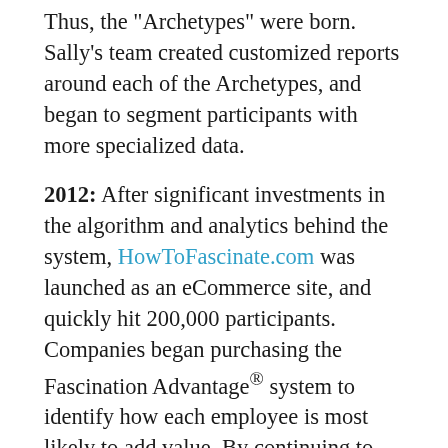Thus, the "Archetypes" were born. Sally's team created customized reports around each of the Archetypes, and began to segment participants with more specialized data.
2012: After significant investments in the algorithm and analytics behind the system, HowToFascinate.com was launched as an eCommerce site, and quickly hit 200,000 participants. Companies began purchasing the Fascination Advantage® system to identify how each employee is most likely to add value. By continuing to apply deeper marketing studies and research, Sally's company began selling group assessments to corporations